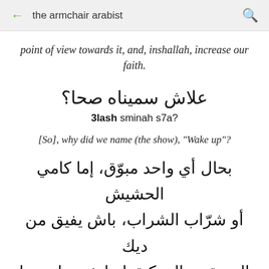the armchair arabist
point of view towards it, and, inshallah, increase our faith.
علاش سميناه صحا؟
3lash sminah s7a?
[So], why did we name (the show), "Wake up"?
بحال أي واحد مبوّق، إما كامي الحشيش أو شرّاب الشراب، باش يفيق من ديك التبويقة دياله، كنقولو له: صحا، صحا
b7al ay wa7id mbuwwaq, ima kami l7ashish o